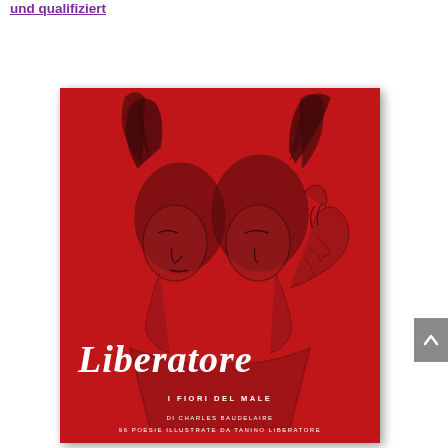und qualifiziert
[Figure (illustration): Book cover of 'Liberatore - I Fiori del Male' (di Charles Baudelaire, 96 Poesie Illustrate da Tanino Liberatore). Red background with dark ink sketch of two figures kissing, handwritten white title 'Liberatore' and subtitle 'I Fiori del Male'.]
[Figure (other): Gray scroll-to-top button with upward arrow on the right edge of the page.]